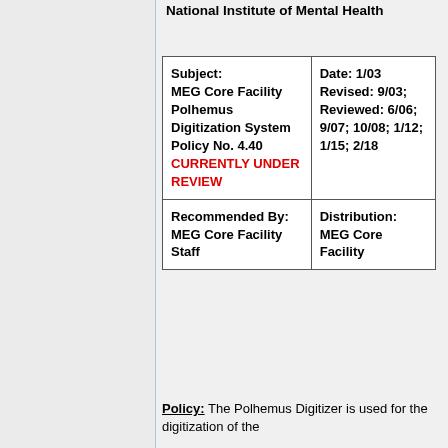National Institute of Mental Health
| Subject:
MEG Core Facility Polhemus Digitization System
Policy No. 4.40
CURRENTLY UNDER REVIEW | Date: 1/03
Revised: 9/03;
Reviewed: 6/06; 9/07; 10/08; 1/12; 1/15; 2/18 |
| Recommended By:
MEG Core Facility Staff | Distribution:
MEG Core Facility |
Policy: The Polhemus Digitizer is used for the digitization of the